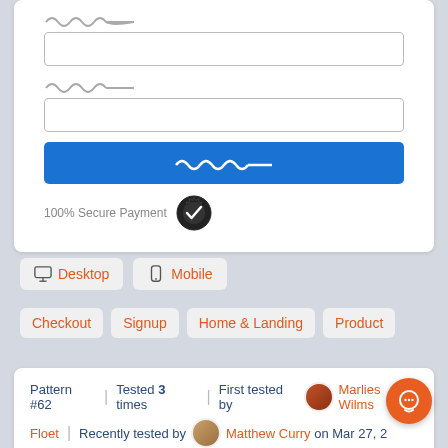[Figure (screenshot): Payment form UI with two input fields, a blue submit button with wavy/squiggle text, and a 100% Secure Payment badge]
Desktop  Mobile
Checkout  Signup  Home & Landing  Product
Pattern #62 | Tested 3 times | First tested by Marlies Wilms Floet | Recently tested by Matthew Curry on Mar 27, 2...
Pattern #62: Urgent Next Pay...